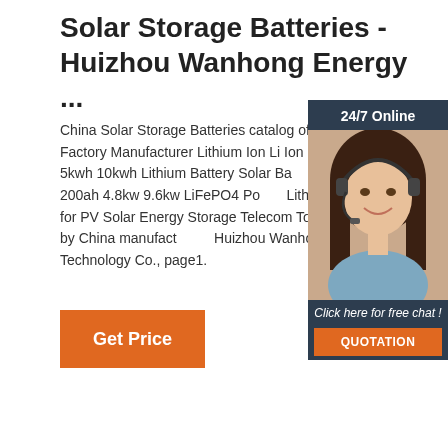Solar Storage Batteries - Huizhou Wanhong Energy ...
China Solar Storage Batteries catalog of China Factory Manufacturer Lithium Ion Li Ion Storage 100ah 5kwh 10kwh Lithium Battery Solar Battery 48V 100ah 200ah 4.8kw 9.6kw LiFePO4 Power Lithium Battery for PV Solar Energy Storage Telecom Tower provided by China manufacturer - Huizhou Wanhong Energy Technology Co., page1.
[Figure (photo): Customer service representative with headset, chat widget with 24/7 Online header, Click here for free chat text, and QUOTATION button]
Get Price